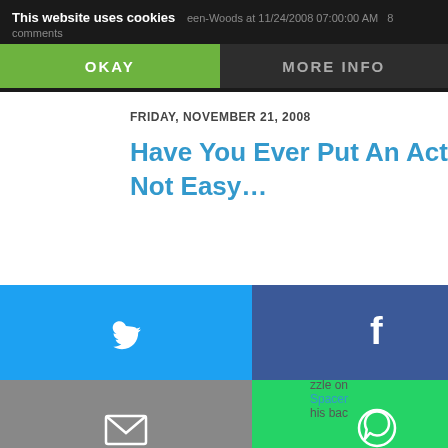This website uses cookies
FRIDAY, NOVEMBER 21, 2008
Have You Ever Put An Active Dog On Not Easy…
[Figure (photo): Blog sidebar image showing cherry blossoms with Japanese haiku theme, text 'Haik... Friday']
[Figure (infographic): Social share buttons grid: Twitter (blue), Facebook (dark blue), Email (grey), WhatsApp (green), SMS (blue), Copy link (blue)]